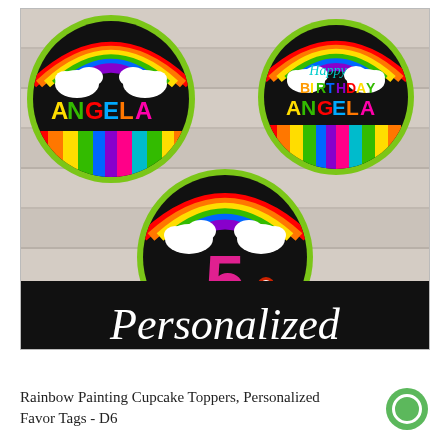[Figure (illustration): Three circular rainbow-themed cupcake toppers on a wood-plank background. Top-left circle: dark background with rainbow arc, white clouds, text 'ANGELA' in colorful letters, and rainbow stripe bottom. Top-right circle: dark background with rainbow arc, white clouds, 'Happy BIRTHDAY ANGELA' text in colorful letters, rainbow stripe bottom. Bottom-center circle: dark background with rainbow arc, white clouds, pink numeral '5', rainbow stripe bottom. Black banner at bottom reads 'Personalized' in white cursive. CUPCAKEMAKEOVER.COM logo visible bottom right of image.]
Rainbow Painting Cupcake Toppers, Personalized Favor Tags - D6